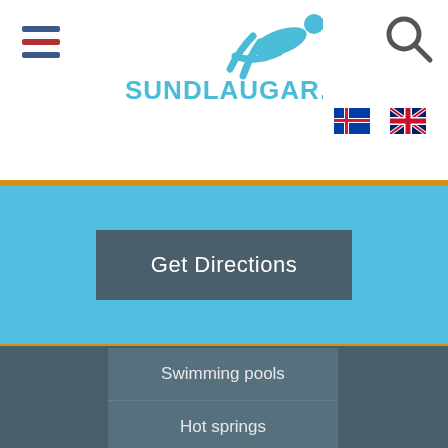[Figure (logo): Sundlaugar.is logo with swimmer silhouette and teal text]
[Figure (illustration): Hamburger menu icon with blue and red stripes]
[Figure (illustration): Search/magnifying glass icon]
[Figure (illustration): Icelandic flag icon]
[Figure (illustration): UK/English flag icon]
Get Directions
Swimming pools
Hot springs
Open now
News